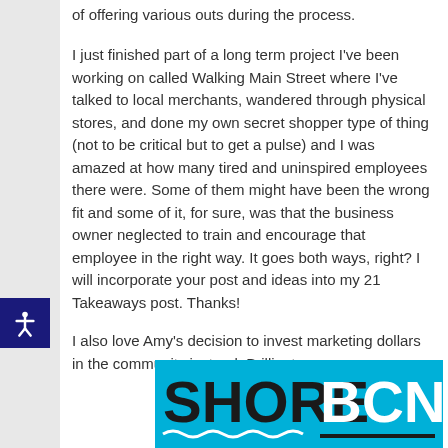of offering various outs during the process.
I just finished part of a long term project I've been working on called Walking Main Street where I've talked to local merchants, wandered through physical stores, and done my own secret shopper type of thing (not to be critical but to get a pulse) and I was amazed at how many tired and uninspired employees there were. Some of them might have been the wrong fit and some of it, for sure, was that the business owner neglected to train and encourage that employee in the right way. It goes both ways, right? I will incorporate your post and ideas into my 21 Takeaways post. Thanks!
I also love Amy's decision to invest marketing dollars in the community instead. Brilliant.
[Figure (logo): SHORE BCN logo on cyan/teal blue background with wave underline decoration]